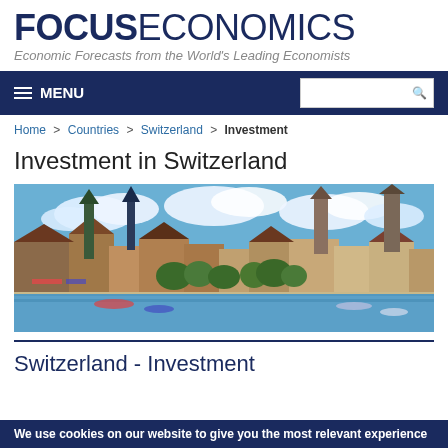FOCUSECONOMICS - Economic Forecasts from the World's Leading Economists
MENU (navigation bar)
Home > Countries > Switzerland > Investment
Investment in Switzerland
[Figure (photo): Panoramic photo of Zurich, Switzerland showing the river, historic church spires, and waterfront buildings under a partly cloudy blue sky]
Switzerland - Investment
We use cookies on our website to give you the most relevant experience